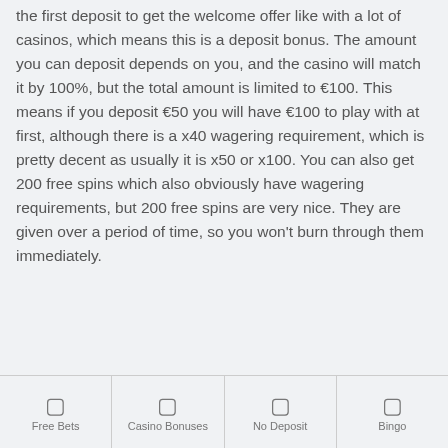the first deposit to get the welcome offer like with a lot of casinos, which means this is a deposit bonus. The amount you can deposit depends on you, and the casino will match it by 100%, but the total amount is limited to €100. This means if you deposit €50 you will have €100 to play with at first, although there is a x40 wagering requirement, which is pretty decent as usually it is x50 or x100. You can also get 200 free spins which also obviously have wagering requirements, but 200 free spins are very nice. They are given over a period of time, so you won't burn through them immediately.
Free Bets | Casino Bonuses | No Deposit | Bingo